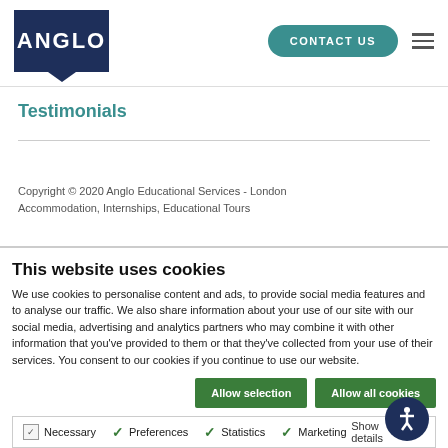[Figure (logo): Anglo Educational Services logo — dark navy blue rectangle with downward notch at bottom, white text ANGLO]
CONTACT US
Testimonials
Copyright © 2020 Anglo Educational Services - London Accommodation, Internships, Educational Tours
This website uses cookies
We use cookies to personalise content and ads, to provide social media features and to analyse our traffic. We also share information about your use of our site with our social media, advertising and analytics partners who may combine it with other information that you've provided to them or that they've collected from your use of their services. You consent to our cookies if you continue to use our website.
Allow selection
Allow all cookies
Necessary   Preferences   Statistics   Marketing   Show details